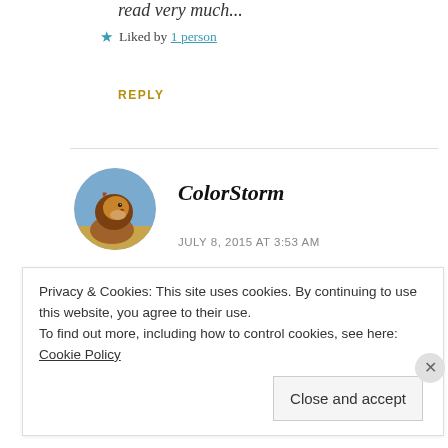read very much...
★ Liked by 1 person
REPLY
[Figure (photo): Circular avatar photo of a lion facing right, used as a commenter profile picture]
ColorStorm
JULY 8, 2015 AT 3:53 AM
Keep them coming betty.
Privacy & Cookies: This site uses cookies. By continuing to use this website, you agree to their use. To find out more, including how to control cookies, see here: Cookie Policy
Close and accept